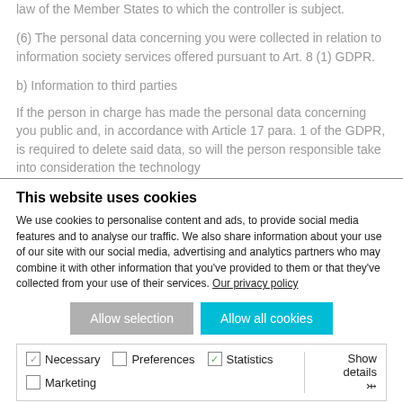law of the Member States to which the controller is subject.
(6) The personal data concerning you were collected in relation to information society services offered pursuant to Art. 8 (1) GDPR.
b) Information to third parties
If the person in charge has made the personal data concerning you public and, in accordance with Article 17 para. 1 of the GDPR, is required to delete said data, so will the person responsible take into consideration the technology
This website uses cookies
We use cookies to personalise content and ads, to provide social media features and to analyse our traffic. We also share information about your use of our site with our social media, advertising and analytics partners who may combine it with other information that you've provided to them or that they've collected from your use of their services. Our privacy policy